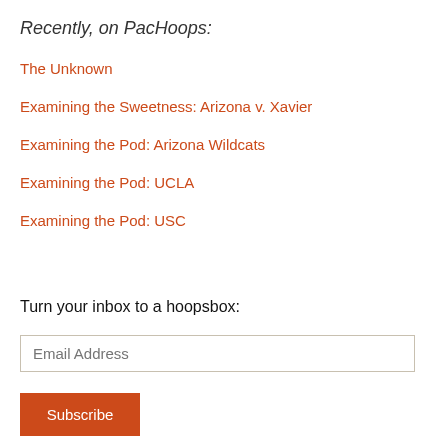Recently, on PacHoops:
The Unknown
Examining the Sweetness: Arizona v. Xavier
Examining the Pod: Arizona Wildcats
Examining the Pod: UCLA
Examining the Pod: USC
Turn your inbox to a hoopsbox:
Email Address
Subscribe